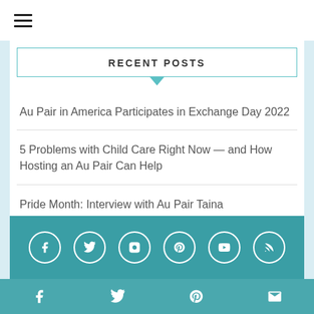≡ (hamburger menu)
RECENT POSTS
Au Pair in America Participates in Exchange Day 2022
5 Problems with Child Care Right Now — and How Hosting an Au Pair Can Help
Pride Month: Interview with Au Pair Taina
Social icons: Facebook, Twitter, Instagram, Pinterest, YouTube, RSS
Share bar: Facebook, Twitter, Pinterest, Email